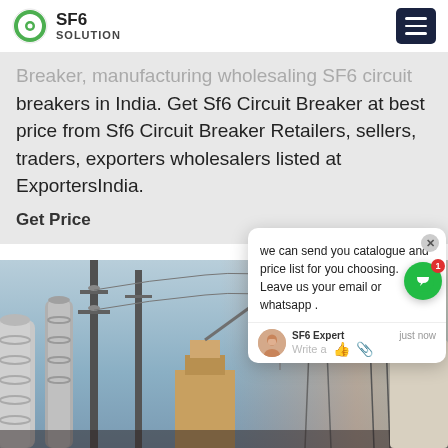SF6 SOLUTION
breakers in India. Get Sf6 Circuit Breaker at best price from Sf6 Circuit Breaker Retailers, sellers, traders, exporters wholesalers listed at ExportersIndia.
Get Price
we can send you catalogue and price list for you choosing.
Leave us your email or whatsapp .
SF6 Expert   just now
Write a
[Figure (photo): Electrical substation with high-voltage equipment, circuit breakers, power lines, and transmission towers against a blue sky]